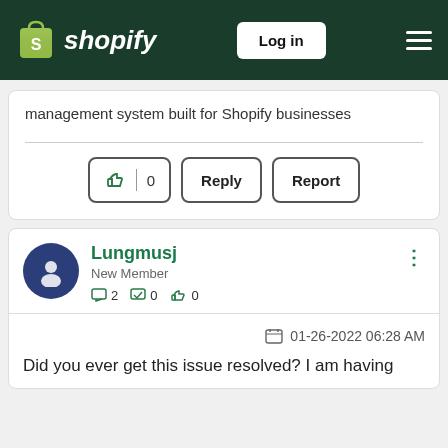[Figure (screenshot): Shopify website header with logo, Log in button, and hamburger menu on dark green background]
management system built for Shopify businesses
[Figure (screenshot): Action buttons: thumbs up with count 0, Reply, Report]
Lungmusj
New Member
2  0  0
01-26-2022 06:28 AM
Did you ever get this issue resolved? I am having